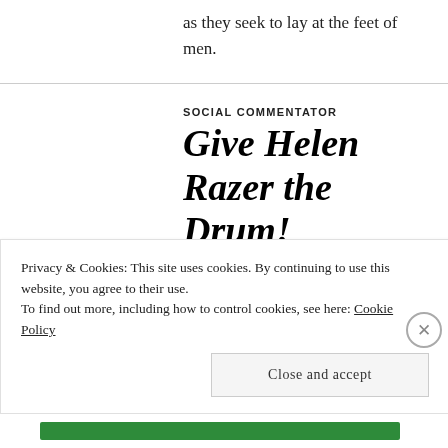as they seek to lay at the feet of men.
SOCIAL COMMENTATOR
Give Helen Razer the Drum!
SEPTEMBER 7, 2017 | PAUL | ABC, DE-FUND THE ABC, MEDIA, POLITICS, THE DRUM, TV | LEAVE A COMMENT
Privacy & Cookies: This site uses cookies. By continuing to use this website, you agree to their use.
To find out more, including how to control cookies, see here: Cookie Policy
Close and accept